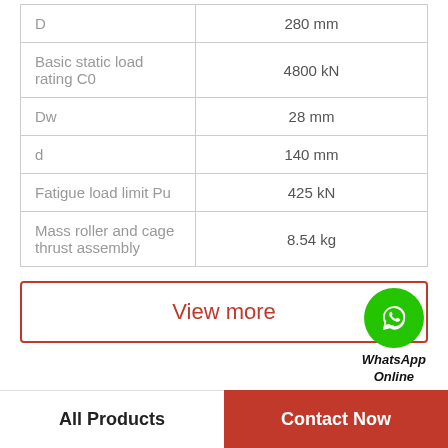| Parameter | Value |
| --- | --- |
| D | 280 mm |
| Basic static load rating C0 | 4800 kN |
| Dw | 28 mm |
| d | 140 mm |
| Fatigue load limit Pu | 425 kN |
| Mass roller and cage thrust assembly | 8.54 kg |
[Figure (illustration): WhatsApp Online badge with green circular WhatsApp icon and bold italic text 'WhatsApp Online']
View more
All Products | Contact Now